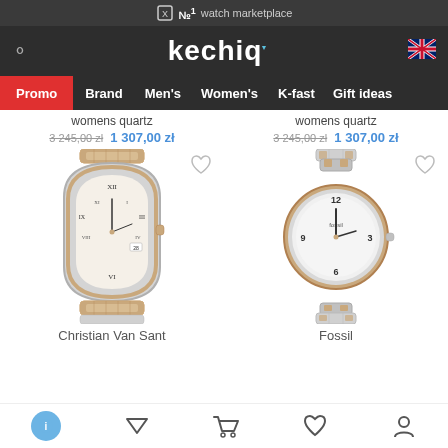№1 watch marketplace
[Figure (logo): Kechiq logo on dark navigation bar]
Promo
Brand
Men's
Women's
K-fast
Gift ideas
womens quartz
3 245,00 zł  1 307,00 zł
womens quartz
3 245,00 zł  1 307,00 zł
[Figure (photo): Christian Van Sant women's rose gold and silver tone watch with Roman numeral dial]
[Figure (photo): Fossil women's rose gold and silver tone round watch]
Christian Van Sant
Fossil
Bottom navigation bar with filter, cart, wishlist, and account icons